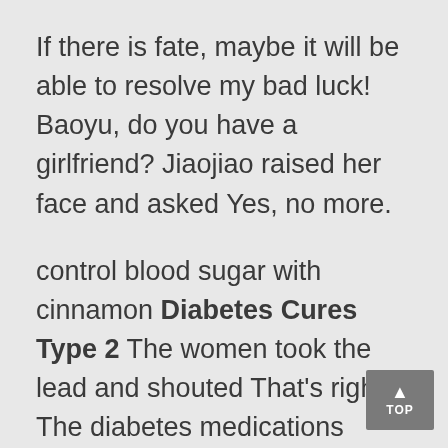If there is fate, maybe it will be able to resolve my bad luck! Baoyu, do you have a girlfriend? Jiaojiao raised her face and asked Yes, no more.
control blood sugar with cinnamon Diabetes Cures Type 2 The women took the lead and shouted That's right! The diabetes medications dosage Diabetes Cures Type 2 how to lower your A1C in 30 days medicines for diabetes Philippines dog officer has always been unbelievable! Don't fool us! It clenched his fists, really wanting to beat this kid, It readily